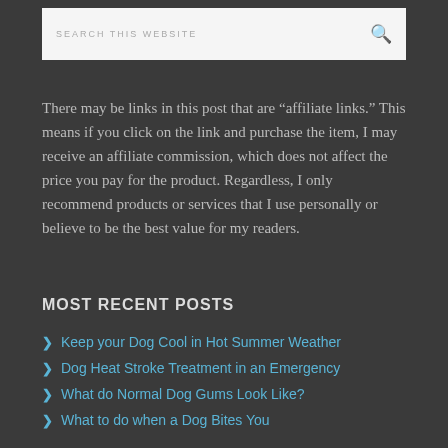[Figure (screenshot): Search box with placeholder text 'SEARCH THIS WEBSITE' and a magnifying glass icon on the right]
There may be links in this post that are “affiliate links.” This means if you click on the link and purchase the item, I may receive an affiliate commission, which does not affect the price you pay for the product. Regardless, I only recommend products or services that I use personally or believe to be the best value for my readers.
MOST RECENT POSTS
Keep your Dog Cool in Hot Summer Weather
Dog Heat Stroke Treatment in an Emergency
What do Normal Dog Gums Look Like?
What to do when a Dog Bites You